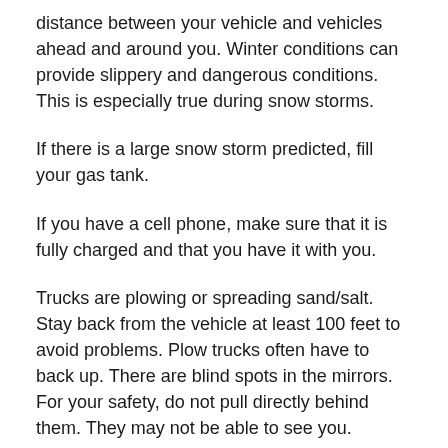distance between your vehicle and vehicles ahead and around you. Winter conditions can provide slippery and dangerous conditions. This is especially true during snow storms.
If there is a large snow storm predicted, fill your gas tank.
If you have a cell phone, make sure that it is fully charged and that you have it with you.
Trucks are plowing or spreading sand/salt. Stay back from the vehicle at least 100 feet to avoid problems. Plow trucks often have to back up. There are blind spots in the mirrors. For your safety, do not pull directly behind them. They may not be able to see you.
Do not allow children to make snow forts at the edge of the road.
Do not place rubbish or recycling bins in the street during snowstorms, as they will interfere with snowplowing.